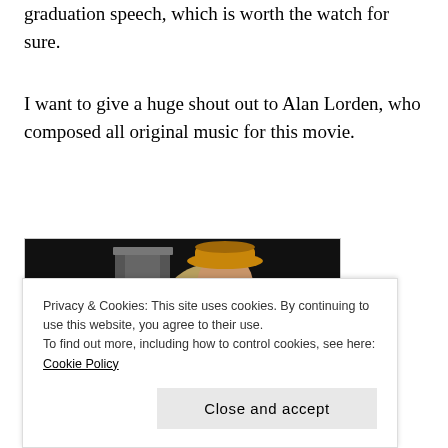graduation speech, which is worth the watch for sure.
I want to give a huge shout out to Alan Lorden, who composed all original music for this movie.
[Figure (photo): Man wearing a tan fedora hat and sunglasses, playing keyboards in a dark studio environment, wearing a light blue/yellow patterned short-sleeve shirt]
Privacy & Cookies: This site uses cookies. By continuing to use this website, you agree to their use.
To find out more, including how to control cookies, see here: Cookie Policy
Close and accept